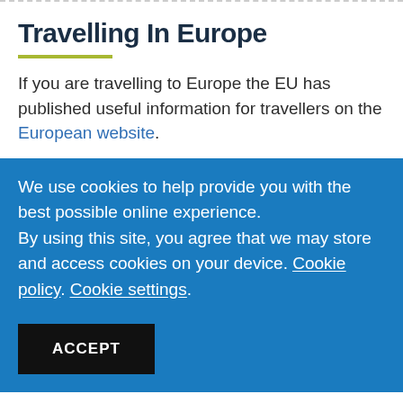Travelling In Europe
If you are travelling to Europe the EU has published useful information for travellers on the European website.
We use cookies to help provide you with the best possible online experience.
By using this site, you agree that we may store and access cookies on your device. Cookie policy. Cookie settings.
ACCEPT